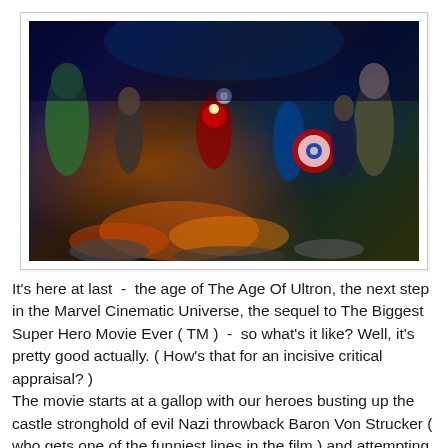[Figure (photo): Movie promotional image showing the Avengers team assembled in action poses against a dramatic battle background with explosions and city destruction.]
It's here at last  -  the age of The Age Of Ultron, the next step in the Marvel Cinematic Universe, the sequel to The Biggest Super Hero Movie Ever ( TM )  -  so what's it like? Well, it's pretty good actually. ( How's that for an incisive critical appraisal? )
The movie starts at a gallop with our heroes busting up the castle stronghold of evil Nazi throwback Baron Von Strucker ( who gets one of the funniest lines in the film ) and attempting to recover Loki's sceptre, which happens to contain yet another Marvel Universe McGuffin, the Mind Stone, one of those pesky Infinity Stones which will no doubt cause all sorts of problems in future movies. ( I still think of them as Infinity Gems as they were named in the comics but